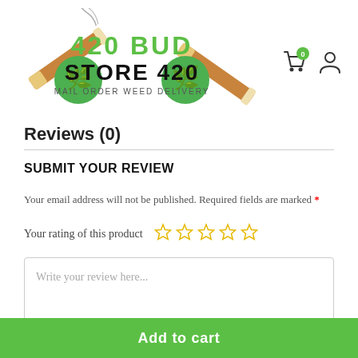[Figure (logo): 420 Bud Store 420 - Mail Order Weed Delivery logo with cannabis leaves and joints]
Reviews (0)
SUBMIT YOUR REVIEW
Your email address will not be published. Required fields are marked *
Your rating of this product (5 empty stars)
Write your review here...
Add to cart